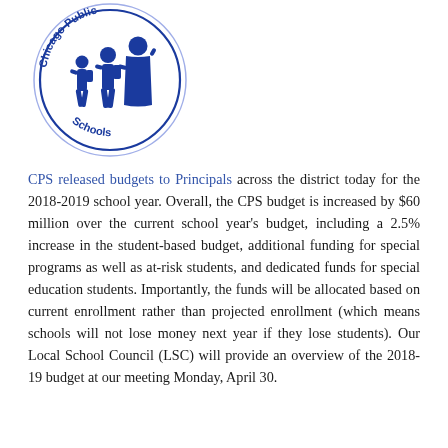[Figure (logo): Chicago Public Schools logo showing silhouettes of students and a teacher inside a circular border with text 'Chicago Public Schools' around the edge]
CPS released budgets to Principals across the district today for the 2018-2019 school year. Overall, the CPS budget is increased by $60 million over the current school year's budget, including a 2.5% increase in the student-based budget, additional funding for special programs as well as at-risk students, and dedicated funds for special education students. Importantly, the funds will be allocated based on current enrollment rather than projected enrollment (which means schools will not lose money next year if they lose students). Our Local School Council (LSC) will provide an overview of the 2018-19 budget at our meeting Monday, April 30.